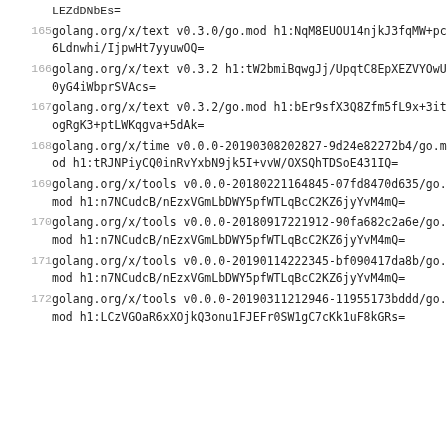LEZdDNbEs=
165  golang.org/x/text v0.3.0/go.mod h1:NqM8EUOU14njkJ3fqMW+pc6Ldnwhi/IjpwHt7yyuwOQ=
166  golang.org/x/text v0.3.2 h1:tW2bmiBqwgJj/UpqtC8EpXEZVYOwU0yG4iWbprSVAcs=
167  golang.org/x/text v0.3.2/go.mod h1:bEr9sfX3Q8Zfm5fL9x+3itogRgK3+ptLWKqgva+5dAk=
168  golang.org/x/time v0.0.0-20190308202827-9d24e82272b4/go.mod h1:tRJNPiyCQ0inRvYxbN9jk5I+vvW/OXSQhTDSoE431IQ=
169  golang.org/x/tools v0.0.0-20180221164845-07fd8470d635/go.mod h1:n7NCudcB/nEzxVGmLbDWY5pfWTLqBcC2KZ6jyYvM4mQ=
170  golang.org/x/tools v0.0.0-20180917221912-90fa682c2a6e/go.mod h1:n7NCudcB/nEzxVGmLbDWY5pfWTLqBcC2KZ6jyYvM4mQ=
171  golang.org/x/tools v0.0.0-20190114222345-bf090417da8b/go.mod h1:n7NCudcB/nEzxVGmLbDWY5pfWTLqBcC2KZ6jyYvM4mQ=
172  golang.org/x/tools v0.0.0-20190311212946-11955173bddd/go.mod h1:LCzVGOaR6xXOjkQ3onu1FJEFr0SW1gC7cKk1uF8kGRs=